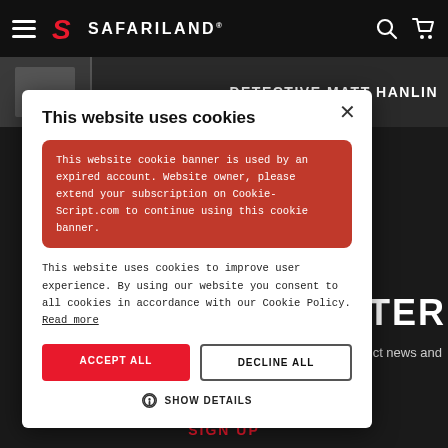Safariland - navigation header with hamburger menu, logo, search and cart icons
[Figure (screenshot): Dark banner strip showing partial text 'DETECTIVE MATT HANLIN']
This website uses cookies
This website cookie banner is used by an expired account. Website owner, please extend your subscription on Cookie-Script.com to continue using this cookie banner.
This website uses cookies to improve user experience. By using our website you consent to all cookies in accordance with our Cookie Policy. Read more
ACCEPT ALL
DECLINE ALL
SHOW DETAILS
NEWSLETTER
ct news and
SIGN UP